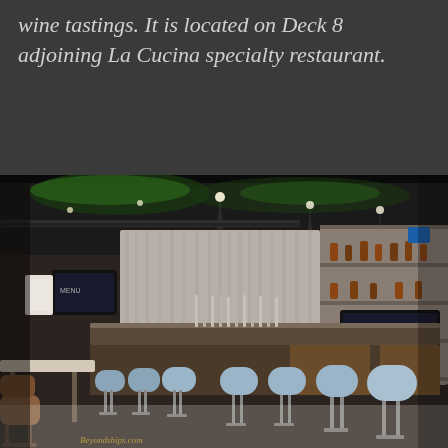wine tastings. It is located on Deck 8 adjoining La Cucina specialty restaurant.
[Figure (photo): Interior photo of a cruise ship bar/lounge with bar stools lined along a long granite bar counter, beer taps, shelving with bottles, green ambient ceiling lighting, a TV screen showing 'ON TAP', and high tables with chairs in the foreground. Watermark reads Beyondships.com.]